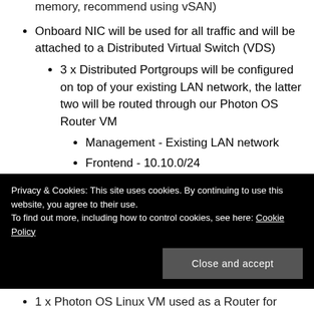memory, recommend using vSAN)
Onboard NIC will be used for all traffic and will be attached to a Distributed Virtual Switch (VDS)
3 x Distributed Portgroups will be configured on top of your existing LAN network, the latter two will be routed through our Photon OS Router VM
Management - Existing LAN network
Frontend - 10.10.0/24
Workload - 10.20.0.0/24
Privacy & Cookies: This site uses cookies. By continuing to use this website, you agree to their use.
To find out more, including how to control cookies, see here: Cookie Policy
Close and accept
1 x Photon OS Linux VM used as a Router for